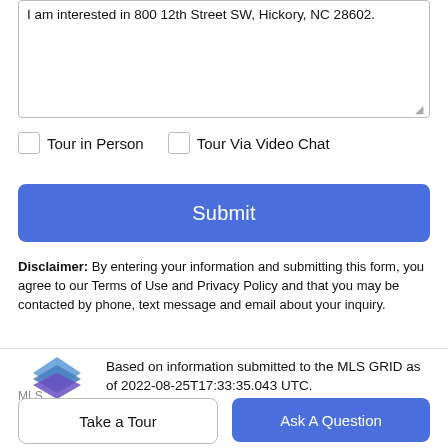I am interested in 800 12th Street SW, Hickory, NC 28602.
Tour in Person
Tour Via Video Chat
Submit
Disclaimer: By entering your information and submitting this form, you agree to our Terms of Use and Privacy Policy and that you may be contacted by phone, text message and email about your inquiry.
Based on information submitted to the MLS GRID as of 2022-08-25T17:33:35.043 UTC.
Take a Tour
Ask A Question